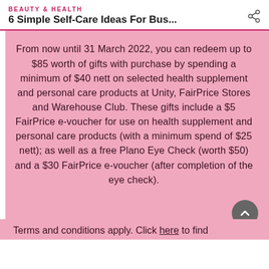BEAUTY & HEALTH
6 Simple Self-Care Ideas For Bus...
From now until 31 March 2022, you can redeem up to $85 worth of gifts with purchase by spending a minimum of $40 nett on selected health supplement and personal care products at Unity, FairPrice Stores and Warehouse Club. These gifts include a $5 FairPrice e-voucher for use on health supplement and personal care products (with a minimum spend of $25 nett); as well as a free Plano Eye Check (worth $50) and a $30 FairPrice e-voucher (after completion of the eye check).
Terms and conditions apply. Click here to find